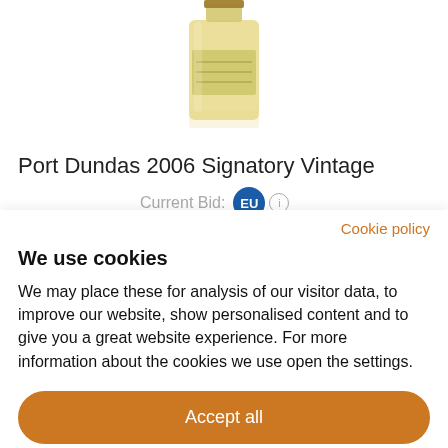[Figure (photo): Bottom portion of a whisky bottle with gold/amber liquid, shown against a white background with subtle reflection]
Port Dundas 2006 Signatory Vintage
Current Bid: EU (i)
Cookie policy
We use cookies
We may place these for analysis of our visitor data, to improve our website, show personalised content and to give you a great website experience. For more information about the cookies we use open the settings.
Accept all
Deny
No, adjust